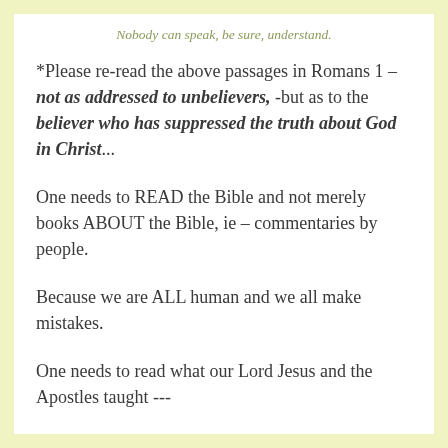Nobody can speak, be sure, understand.
*Please re-read the above passages in Romans 1 – not as addressed to unbelievers, -but as to the believer who has suppressed the truth about God in Christ...
One needs to READ the Bible and not merely books ABOUT the Bible, ie – commentaries by people.
Because we are ALL human and we all make mistakes.
One needs to read what our Lord Jesus and the Apostles taught ---